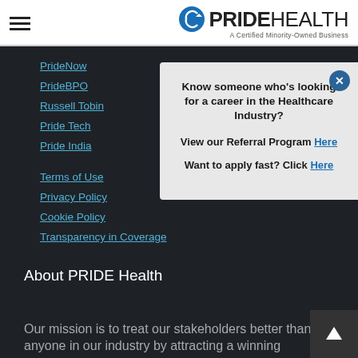PRIDE HEALTH - A Certified Minority-Owned Business
PrideNow
PrideBPO
Russell Tobin
Pride Tech
Pride India
Terms of Use
Privacy Policy
Cookie Policy
Transparency in Coverage
[Figure (infographic): Popup modal with referral program info: 'Know someone who’s looking for a career in the Healthcare Industry? View our Referral Program Here. Want to apply fast? Click Here.' with a close button (x) in top right.]
About PRIDE Health
Our mission is to treat our stakeholders better than anyone in our industry by attracting a winning...